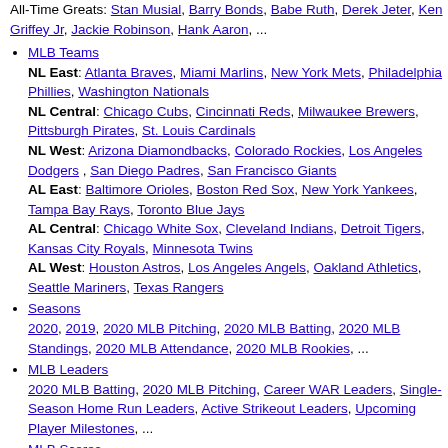All-Time Greats: Stan Musial, Barry Bonds, Babe Ruth, Derek Jeter, Ken Griffey Jr, Jackie Robinson, Hank Aaron, ...
MLB Teams
NL East: Atlanta Braves, Miami Marlins, New York Mets, Philadelphia Phillies, Washington Nationals
NL Central: Chicago Cubs, Cincinnati Reds, Milwaukee Brewers, Pittsburgh Pirates, St. Louis Cardinals
NL West: Arizona Diamondbacks, Colorado Rockies, Los Angeles Dodgers, San Diego Padres, San Francisco Giants
AL East: Baltimore Orioles, Boston Red Sox, New York Yankees, Tampa Bay Rays, Toronto Blue Jays
AL Central: Chicago White Sox, Cleveland Indians, Detroit Tigers, Kansas City Royals, Minnesota Twins
AL West: Houston Astros, Los Angeles Angels, Oakland Athletics, Seattle Mariners, Texas Rangers
Seasons
2020, 2019, 2020 MLB Pitching, 2020 MLB Batting, 2020 MLB Standings, 2020 MLB Attendance, 2020 MLB Rookies, ...
MLB Leaders
2020 MLB Batting, 2020 MLB Pitching, Career WAR Leaders, Single-Season Home Run Leaders, Active Strikeout Leaders, Upcoming Player Milestones, ...
MLB Scores